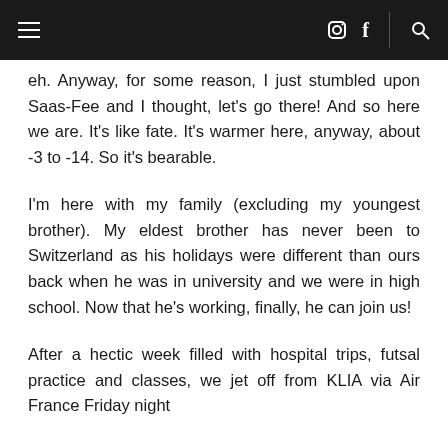≡  [instagram] f  | [search]
eh. Anyway, for some reason, I just stumbled upon Saas-Fee and I thought, let's go there! And so here we are. It's like fate. It's warmer here, anyway, about -3 to -14. So it's bearable.
I'm here with my family (excluding my youngest brother). My eldest brother has never been to Switzerland as his holidays were different than ours back when he was in university and we were in high school. Now that he's working, finally, he can join us!
After a hectic week filled with hospital trips, futsal practice and classes, we jet off from KLIA via Air France Friday night